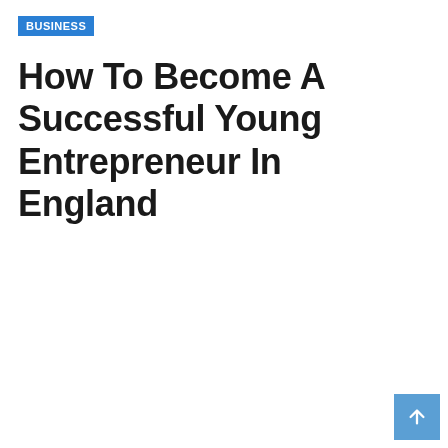BUSINESS
How To Become A Successful Young Entrepreneur In England